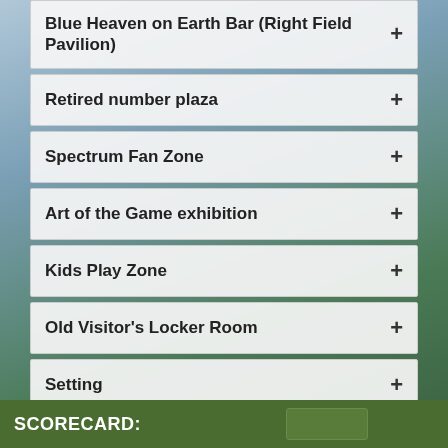Blue Heaven on Earth Bar (Right Field Pavilion)
Retired number plaza
Spectrum Fan Zone
Art of the Game exhibition
Kids Play Zone
Old Visitor's Locker Room
Setting
Game action
SCORECARD: